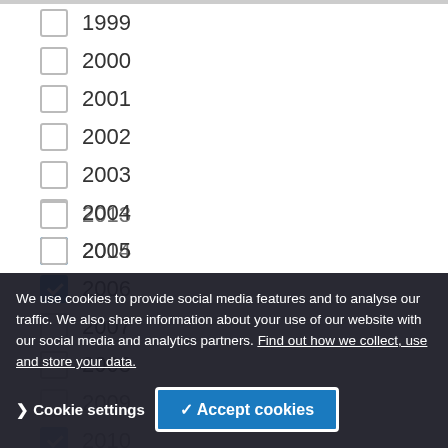1999 (unchecked)
2000 (unchecked)
2001 (unchecked)
2002 (unchecked)
2003 (unchecked)
2004 (unchecked)
2005 (checked)
2006 (checked)
2007 (unchecked)
2008 (unchecked)
2009 (unchecked)
2010 (checked)
2013 (unchecked)
2014 (unchecked)
We use cookies to provide social media features and to analyse our traffic. We also share information about your use of our website with our social media and analytics partners. Find out how we collect, use and store your data.
Cookie settings | Accept cookies